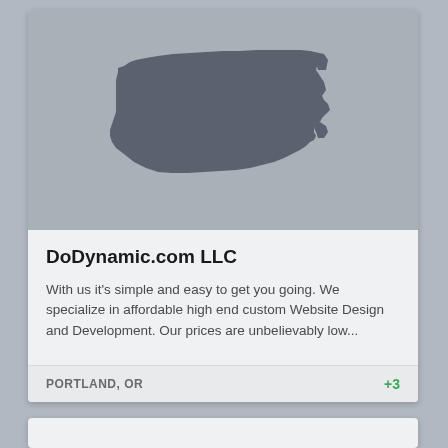[Figure (map): Gray placeholder image showing the silhouette/outline of the state of Oregon in dark gray on a lighter gray background]
DoDynamic.com LLC
With us it's simple and easy to get you going. We specialize in affordable high end custom Website Design and Development. Our prices are unbelievably low...
PORTLAND, OR
+3